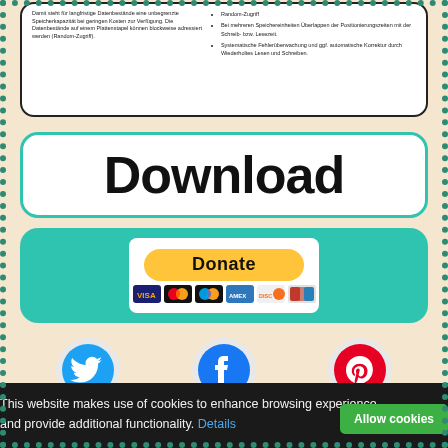Damit steht für langfristige Datenbestände eine unbegrenzte Speicherkapazität bei geringen Kosten zur Verfügung. Die Datenbestände auf einem Plattenstapel können blockweise adressiert werden (Random-Zugriff).
Random-Zugriff
Bei mehreren Speichereinheiten Überlappen der Positionierungszeiten mit der Schreib- bzw. Lesezeit.
Systematische Fehlerüberwachung und ggf. automatische Korrektur durch Wiederholtes Lesen und Schreiben.
Download
[Figure (other): Donate button with PayPal styling and payment card icons (VISA, Mastercard, Maestro, American Express, Discover, UnionPay)]
[Figure (other): Social media icons: Twitter (blue bird), Facebook (blue f), and a third social icon (red), partially visible]
This website makes use of cookies to enhance browsing experience and provide additional functionality. Details
Allow cookies